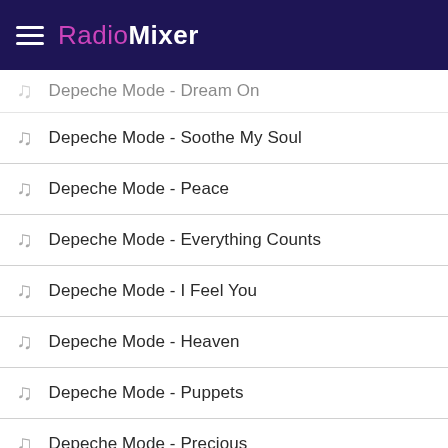RadioMixer
Depeche Mode - Dream On
Depeche Mode - Soothe My Soul
Depeche Mode - Peace
Depeche Mode - Everything Counts
Depeche Mode - I Feel You
Depeche Mode - Heaven
Depeche Mode - Puppets
Depeche Mode - Precious
Depeche Mode - Clean
Depeche Mode - Martyr